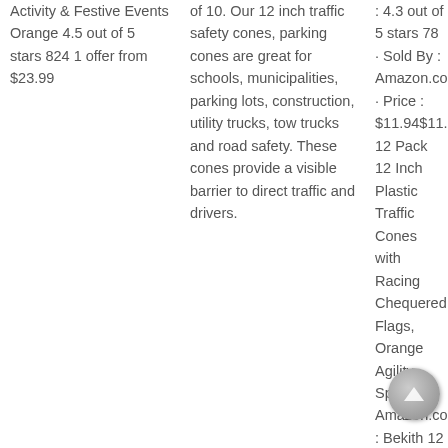Activity & Festive Events Orange 4.5 out of 5 stars 824 1 offer from $23.99
of 10. Our 12 inch traffic safety cones, parking cones are great for schools, municipalities, parking lots, construction, utility trucks, tow trucks and road safety. These cones provide a visible barrier to direct traffic and drivers.
: 4.3 out of 5 stars 78 · Sold By : Amazon.com · Price : $11.94$11.94Bekith 12 Pack 12 Inch Plastic Traffic Cones with Racing Chequered Flags, Orange Agility Sport Amazon.com : Bekith 12 Pack 12 Inch Plastic Traffic Cones with Racing Chequered Flags Orang 12 inch Plastic Training Soccer Cones, Safety Traffic Cones, Sport Cones for